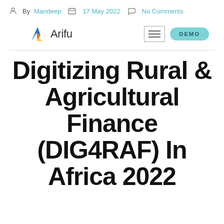By Mandeep  17 May 2022  No Comments
[Figure (logo): Arifu logo with stylized arrow icon in blue, orange, and yellow, followed by text 'Arifu']
Digitizing Rural & Agricultural Finance (DIG4RAF) In Africa 2022